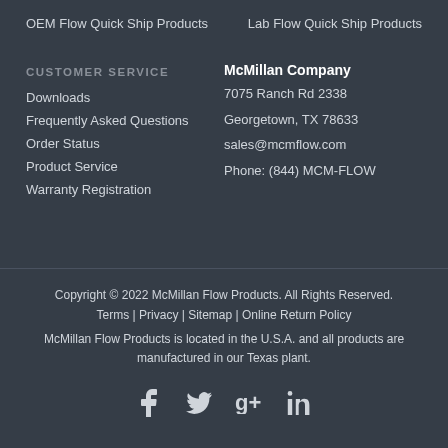OEM Flow Quick Ship Products
Lab Flow Quick Ship Products
CUSTOMER SERVICE
Downloads
Frequently Asked Questions
Order Status
Product Service
Warranty Registration
McMillan Company
7075 Ranch Rd 2338
Georgetown, TX  78633
sales@mcmflow.com
Phone: (844) MCM-FLOW
Copyright © 2022 McMillan Flow Products. All Rights Reserved.
Terms | Privacy | Sitemap | Online Return Policy
McMillan Flow Products is located in the U.S.A. and all products are manufactured in our Texas plant.